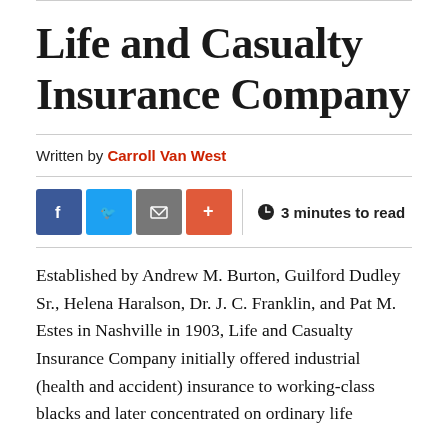Life and Casualty Insurance Company
Written by Carroll Van West
[Figure (infographic): Social share buttons (Facebook, Twitter, Email, More) and reading time indicator showing 3 minutes to read]
Established by Andrew M. Burton, Guilford Dudley Sr., Helena Haralson, Dr. J. C. Franklin, and Pat M. Estes in Nashville in 1903, Life and Casualty Insurance Company initially offered industrial (health and accident) insurance to working-class blacks and later concentrated on ordinary life